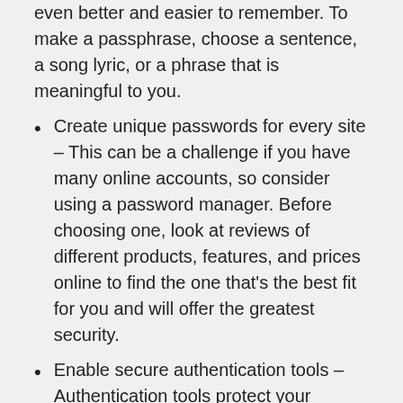even better and easier to remember. To make a passphrase, choose a sentence, a song lyric, or a phrase that is meaningful to you.
Create unique passwords for every site – This can be a challenge if you have many online accounts, so consider using a password manager. Before choosing one, look at reviews of different products, features, and prices online to find the one that's the best fit for you and will offer the greatest security.
Enable secure authentication tools – Authentication tools protect your account by requiring something other than, or in addition to, a password in order to gain access. Use the strongest authentication tools available such as biometrics and one-time passcodes, especially on accounts for social media and banking.
Protect your devices and important data